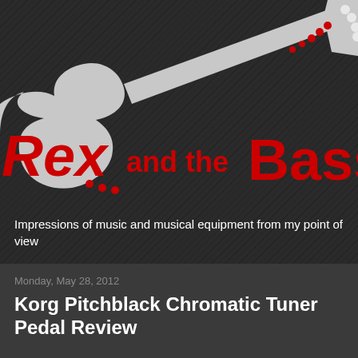[Figure (logo): Rex and the Bass logo: a light gray electric bass guitar silhouette on a dark textured background. The guitar has red dot inlays on the headstock and body. Large red text reads 'Rex and the Bass' overlaid on the guitar body.]
Impressions of music and musical equipment from my point of view
Monday, May 28, 2012
Korg Pitchblack Chromatic Tuner Pedal Review